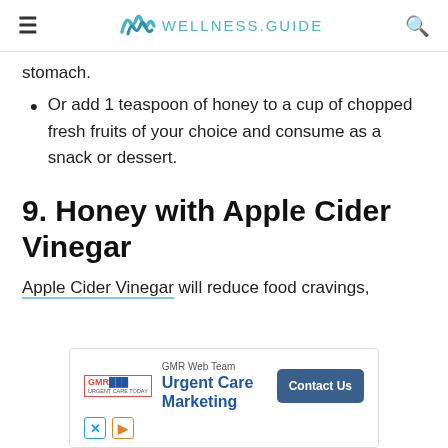WELLNESS.GUIDE
stomach.
Or add 1 teaspoon of honey to a cup of chopped fresh fruits of your choice and consume as a snack or dessert.
9. Honey with Apple Cider Vinegar
Apple Cider Vinegar will reduce food cravings,
[Figure (screenshot): Advertisement for GMR Web Team - Urgent Care Marketing with Contact Us button]